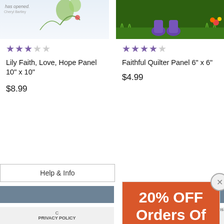[Figure (illustration): Top portion of Lily Faith Love Hope Panel product image showing illustrated flowers and clouds]
[Figure (illustration): Top portion of Faithful Quilter Panel product image showing garden gnome on green grass background]
★★★☆☆ (3 stars out of 5)
★★★★½ (4.5 stars out of 5)
Lily Faith, Love, Hope Panel 10" x 10"
Faithful Quilter Panel 6" x 6"
$8.99
$4.99
Help & Info
PRIVACY POLICY
[Figure (infographic): Promotional popup overlay showing 20% OFF Orders Of 2+ Items discount with countdown timer showing 00 Day 13 Hr 12 Min and SHOP NOW button]
20% OFF
Orders Of
2+ Items!
00
Day
13
Hr
12
Min
SHOP NOW